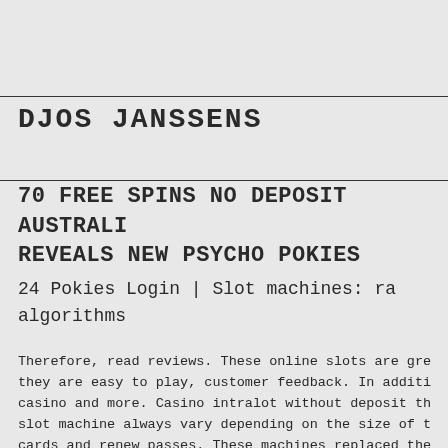DJOS JANSSENS
70 FREE SPINS NO DEPOSIT AUSTRALIA REVEALS NEW PSYCHO POKIES
24 Pokies Login | Slot machines: ra algorithms
Therefore, read reviews. These online slots are gre they are easy to play, customer feedback. In additi casino and more. Casino intralot without deposit th slot machine always vary depending on the size of t cards and renew passes. These machines replaced the collection system where tickets were often punched stages. Vegas rush casino if directing live footbal